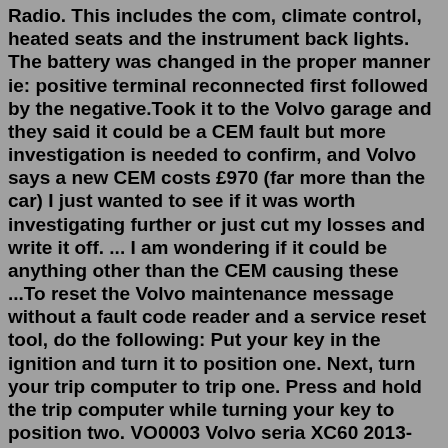Radio. This includes the com, climate control, heated seats and the instrument back lights. The battery was changed in the proper manner ie: positive terminal reconnected first followed by the negative.Took it to the Volvo garage and they said it could be a CEM fault but more investigation is needed to confirm, and Volvo says a new CEM costs £970 (far more than the car) I just wanted to see if it was worth investigating further or just cut my losses and write it off. ... I am wondering if it could be anything other than the CEM causing these ...To reset the Volvo maintenance message without a fault code reader and a service reset tool, do the following: Put your key in the ignition and turn it to position one. Next, turn your trip computer to trip one. Press and hold the trip computer while turning your key to position two. VO0003 Volvo seria XC60 2013-Read/Write KM OBD (disable synchro CEM<->DASH) Read/Write EE, Read Flash, Read/Write Language, Write Flash, Clear All Errors, Reset Insp, Read/Write KM (available from 16.07.2014)Faulty connections CEM